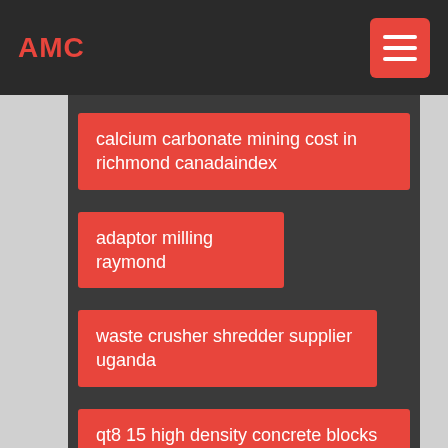AMC
calcium carbonate mining cost in richmond canadaindex
adaptor milling raymond
waste crusher shredder supplier uganda
qt8 15 high density concrete blocks machine
wooden crusher
belt conveyors principles for calculation and design pdf
acompanhante luxo rj remond mil